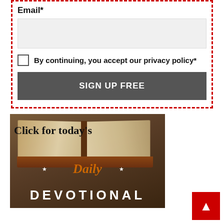Email*
By continuing, you accept our privacy policy*
SIGN UP FREE
[Figure (illustration): Promotional image with an open Bible book on a wooden surface with text overlay: 'Click for today's Daily DEVOTIONAL']
▲